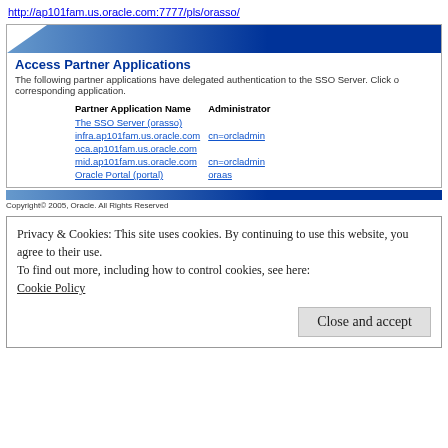http://ap101fam.us.oracle.com:7777/pls/orasso/
[Figure (screenshot): Oracle Access Partner Applications page showing a table with Partner Application Name and Administrator columns, listing: The SSO Server (orasso), infra.ap101fam.us.oracle.com / cn=orcladmin, oca.ap101fam.us.oracle.com, mid.ap101fam.us.oracle.com / cn=orcladmin, Oracle Portal (portal) / oraas]
Copyright© 2005, Oracle. All Rights Reserved
Privacy & Cookies: This site uses cookies. By continuing to use this website, you agree to their use.
To find out more, including how to control cookies, see here:
Cookie Policy
Close and accept